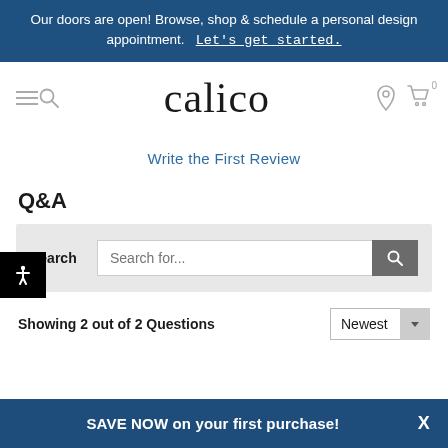Our doors are open! Browse, shop & schedule a personal design appointment.   Let's get started.
[Figure (logo): Calico logo with hamburger menu, search icon, location icon, and cart icon in navigation bar]
Write the First Review
[Figure (other): Accessibility icon button (person symbol) in black square]
Q&A
Search   Search for...
Showing 2 out of 2 Questions   Newest
SAVE NOW on your first purchase!   X